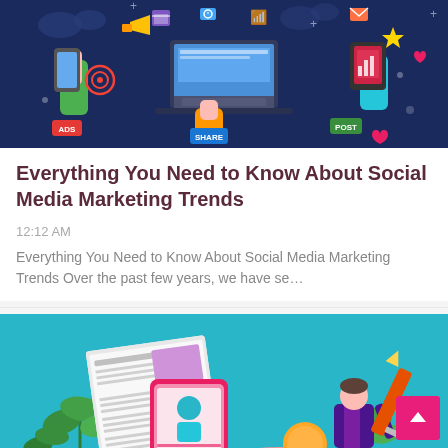[Figure (illustration): Colorful social media marketing illustration with hands holding devices (laptop, tablet, phone), digital icons (ads, share, post labels), on a dark navy background]
Everything You Need to Know About Social Media Marketing Trends
12:12 AM
Everything You Need to Know About Social Media Marketing Trends Over the past few years, we have se…
[Figure (illustration): Isometric content marketing illustration on teal background: large newspaper/document pages, a smartphone, green plants, and a businessperson holding a large pencil]